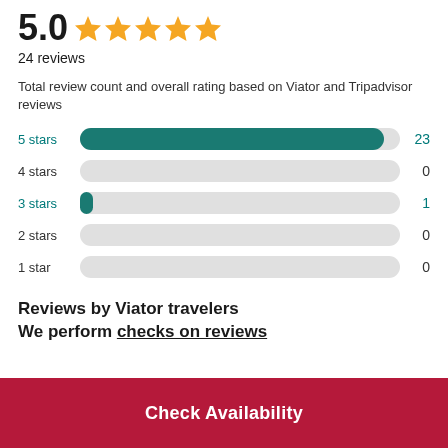5.0 ★★★★★
24 reviews
Total review count and overall rating based on Viator and Tripadvisor reviews
[Figure (bar-chart): Star rating distribution]
Reviews by Viator travelers
We perform checks on reviews
Check Availability